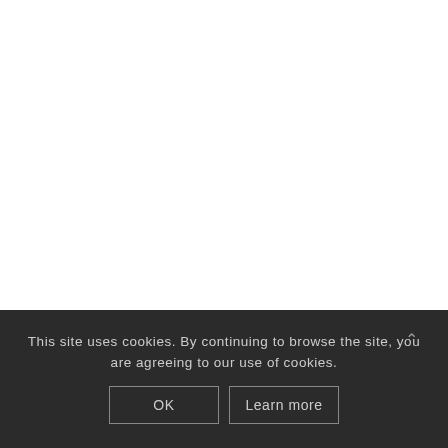This site uses cookies. By continuing to browse the site, you are agreeing to our use of cookies.